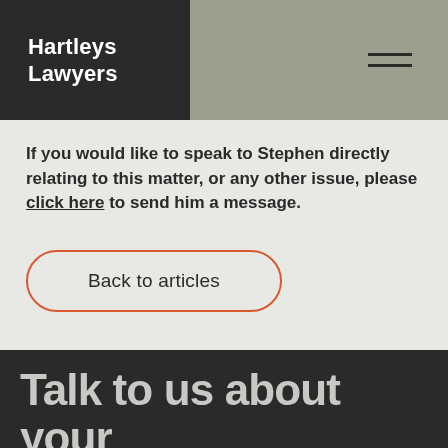Hartleys Lawyers
If you would like to speak to Stephen directly relating to this matter, or any other issue, please click here to send him a message.
[Figure (other): Orange-outlined rounded rectangle button with text 'Back to articles']
Talk to us about your